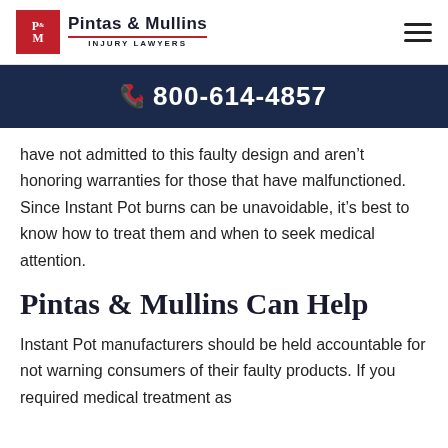Pintas & Mullins INJURY LAWYERS
800-614-4857
have not admitted to this faulty design and aren't honoring warranties for those that have malfunctioned. Since Instant Pot burns can be unavoidable, it's best to know how to treat them and when to seek medical attention.
Pintas & Mullins Can Help
Instant Pot manufacturers should be held accountable for not warning consumers of their faulty products. If you required medical treatment as